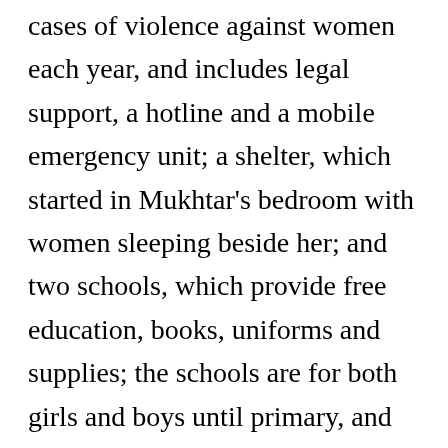cases of violence against women each year, and includes legal support, a hotline and a mobile emergency unit; a shelter, which started in Mukhtar's bedroom with women sleeping beside her; and two schools, which provide free education, books, uniforms and supplies; the schools are for both girls and boys until primary, and for girls until high school.
In 2003, she used funds she won from her case to start a school for girls, the first in her village. Illiterate herself, she understood that only education could bring about change.  She laid the bricks with her own hands, she tells me proudly, and enrolled herself as her first student; she made it through primary school, she